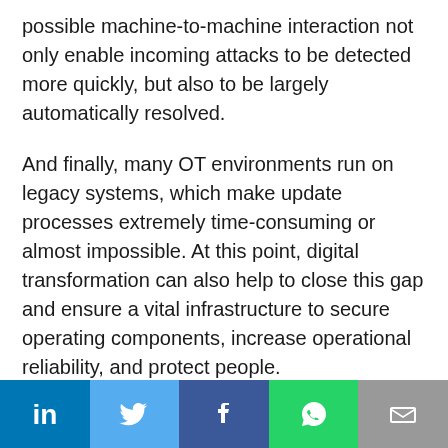possible machine-to-machine interaction not only enable incoming attacks to be detected more quickly, but also to be largely automatically resolved.
And finally, many OT environments run on legacy systems, which make update processes extremely time-consuming or almost impossible. At this point, digital transformation can also help to close this gap and ensure a vital infrastructure to secure operating components, increase operational reliability, and protect people.
Final thoughts